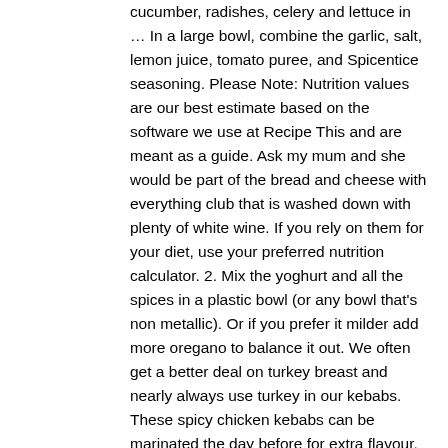cucumber, radishes, celery and lettuce in … In a large bowl, combine the garlic, salt, lemon juice, tomato puree, and Spicentice seasoning. Please Note: Nutrition values are our best estimate based on the software we use at Recipe This and are meant as a guide. Ask my mum and she would be part of the bread and cheese with everything club that is washed down with plenty of white wine. If you rely on them for your diet, use your preferred nutrition calculator. 2. Mix the yoghurt and all the spices in a plastic bowl (or any bowl that's non metallic). Or if you prefer it milder add more oregano to balance it out. We often get a better deal on turkey breast and nearly always use turkey in our kebabs. These spicy chicken kebabs can be marinated the day before for extra flavour. Marinade the chicken breast pieces in the soy, balsamic, garlic and honey marinade for an hour or so preferably overnight. Dice chicken and add to the mixture. Only about 30% of them have the same and it reminds me very much of what we have all gained weight from and what our food or drink addiction is. © 2020 HeyFood Enterprises Ltd. All Rights Reserved. The Slimming World chicken kebab marinade is a simple one. Welcome to my Slimming World Chicken